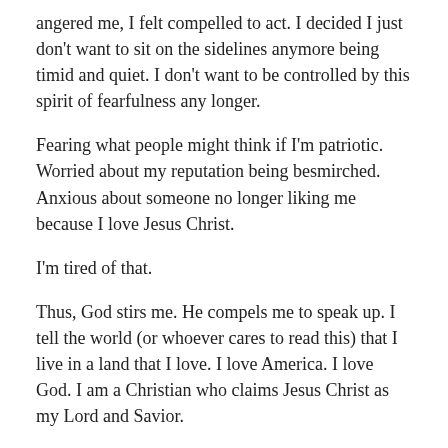angered me, I felt compelled to act. I decided I just don't want to sit on the sidelines anymore being timid and quiet. I don't want to be controlled by this spirit of fearfulness any longer.
Fearing what people might think if I'm patriotic. Worried about my reputation being besmirched. Anxious about someone no longer liking me because I love Jesus Christ.
I'm tired of that.
Thus, God stirs me. He compels me to speak up. I tell the world (or whoever cares to read this) that I live in a land that I love. I love America. I love God. I am a Christian who claims Jesus Christ as my Lord and Savior.
And if this makes me politically incorrect and unpopular, that's quite alright. Because Jesus said to not be ashamed of Him and if we were, He'd be ashamed of us before the Father.